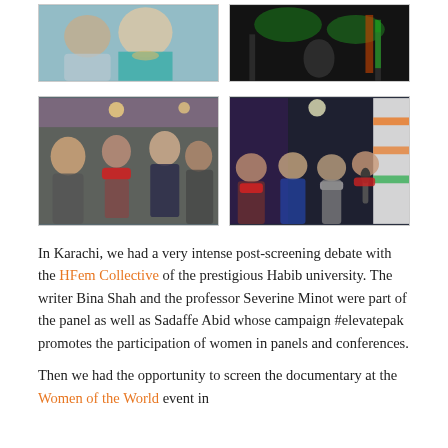[Figure (photo): Top-left photo: Two women smiling, one wearing a teal top with a statement necklace, another in a patterned outfit.]
[Figure (photo): Top-right photo: Dark performance venue scene with green stage lighting, person at microphone.]
[Figure (photo): Bottom-left photo: Group of people in a conversation at an indoor event, woman in red scarf prominent.]
[Figure (photo): Bottom-right photo: Panel discussion scene with four people seated, one holding a microphone, colorful banner in background.]
In Karachi, we had a very intense post-screening debate with the HFem Collective of the prestigious Habib university. The writer Bina Shah and the professor Severine Minot were part of the panel as well as Sadaffe Abid whose campaign #elevatepak promotes the participation of women in panels and conferences.
Then we had the opportunity to screen the documentary at the Women of the World event in